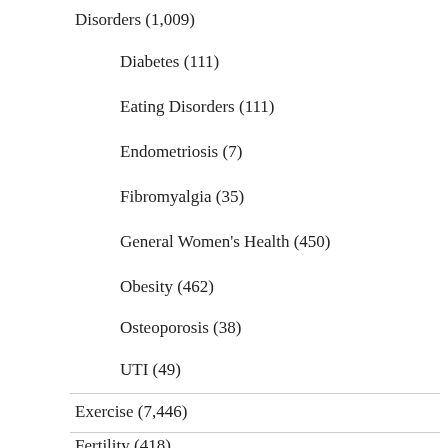Disorders (1,009)
Diabetes (111)
Eating Disorders (111)
Endometriosis (7)
Fibromyalgia (35)
General Women's Health (450)
Obesity (462)
Osteoporosis (38)
UTI (49)
Exercise (7,446)
Fertility (418)
OBGYN (358)